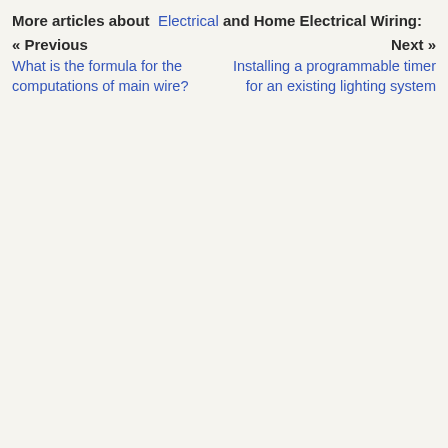More articles about Electrical and Home Electrical Wiring:
« Previous    Next »
What is the formula for the computations of main wire?
Installing a programmable timer for an existing lighting system